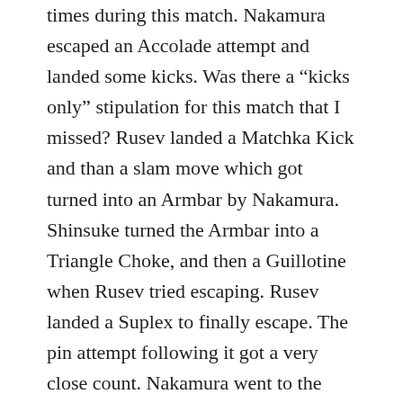times during this match. Nakamura escaped an Accolade attempt and landed some kicks. Was there a “kicks only” stipulation for this match that I missed? Rusev landed a Matchka Kick and than a slam move which got turned into an Armbar by Nakamura. Shinsuke turned the Armbar into a Triangle Choke, and then a Guillotine when Rusev tried escaping. Rusev landed a Suplex to finally escape. The pin attempt following it got a very close count. Nakamura went to the turnbuckle after a near fall and took off a pad. Lana got on the apron and tried to let the ref know. Nakamura got in her face, and Rusev tried to attack him during this. Shinsuke dodged Rusev, and hit Lana instead. This distracted Rusev, letting Nakamura hit a Kinshasa to win the match. This match could have cooled down on